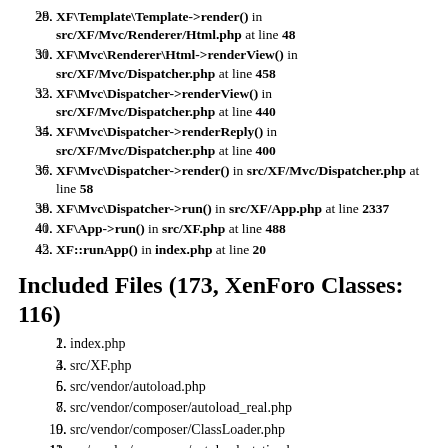28. XF\Template\Template->render() in src/XF/Mvc/Renderer/Html.php at line 48
29. XF\Mvc\Renderer\Html->renderView() in src/XF/Mvc/Dispatcher.php at line 458
30. XF\Mvc\Dispatcher->renderView() in src/XF/Mvc/Dispatcher.php at line 440
31. XF\Mvc\Dispatcher->renderReply() in src/XF/Mvc/Dispatcher.php at line 400
32. XF\Mvc\Dispatcher->render() in src/XF/Mvc/Dispatcher.php at line 58
33. XF\Mvc\Dispatcher->run() in src/XF/App.php at line 2337
34. XF\App->run() in src/XF.php at line 488
35. XF::runApp() in index.php at line 20
Included Files (173, XenForo Classes: 116)
1. index.php
2. src/XF.php
3. src/vendor/autoload.php
4. src/vendor/composer/autoload_real.php
5. src/vendor/composer/ClassLoader.php
6. src/vendor/composer/autoload_static.php